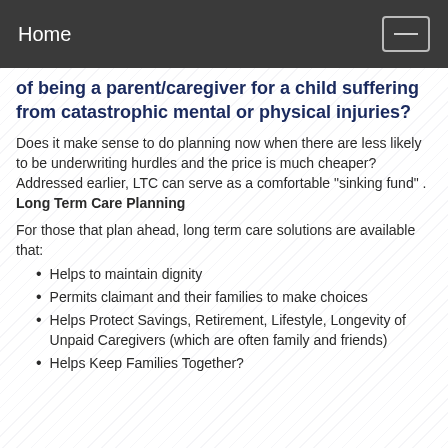Home
of being a parent/caregiver for a child suffering from catastrophic mental or physical injuries?
Does it make sense to do planning now when there are less likely to be underwriting hurdles and the price is much cheaper? Addressed earlier, LTC can serve as a comfortable "sinking fund" .
Long Term Care Planning
For those that plan ahead, long term care solutions are available that:
Helps to maintain dignity
Permits claimant and their families to make choices
Helps Protect Savings, Retirement, Lifestyle, Longevity of Unpaid Caregivers (which are often family and friends)
Helps Keep Families Together?